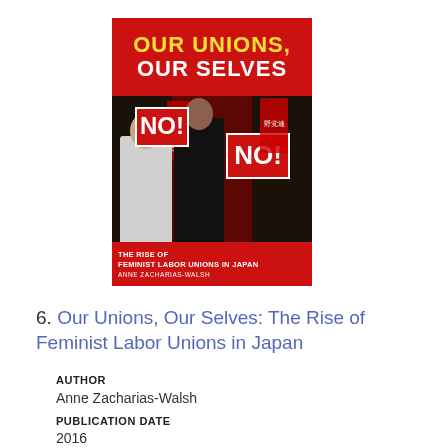[Figure (illustration): Book cover of 'Our Unions, Our Selves: The Rise of Feminist Labor Unions in Japan' by Anne Zacharias-Walsh. Red top banner with yellow and white bold title text. Center shows a black-and-white photo of protesters holding 'NO!' signs. Bottom red strip shows subtitle and author name.]
6. Our Unions, Our Selves: The Rise of Feminist Labor Unions in Japan
AUTHOR
Anne Zacharias-Walsh
PUBLICATION DATE
2016